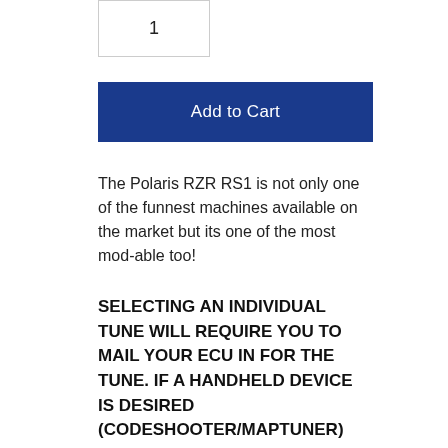1
Add to Cart
The Polaris RZR RS1 is not only one of the funnest machines available on the market but its one of the most mod-able too!
SELECTING AN INDIVIDUAL TUNE WILL REQUIRE YOU TO MAIL YOUR ECU IN FOR THE TUNE. IF A HANDHELD DEVICE IS DESIRED (CodeShooter/Maptuner) PLEASE SELECT THAT OPTION